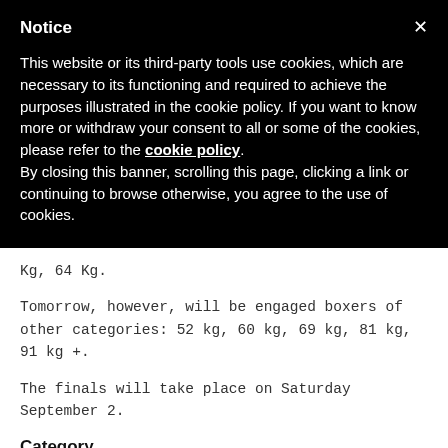Notice
This website or its third-party tools use cookies, which are necessary to its functioning and required to achieve the purposes illustrated in the cookie policy. If you want to know more or withdraw your consent to all or some of the cookies, please refer to the cookie policy. By closing this banner, scrolling this page, clicking a link or continuing to browse otherwise, you agree to the use of cookies.
Kg, 64 Kg.
Tomorrow, however, will be engaged boxers of other categories: 52 kg, 60 kg, 69 kg, 81 kg, 91 kg +.
The finals will take place on Saturday September 2.
Category